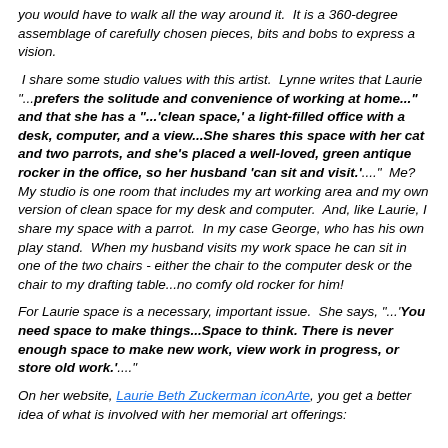you would have to walk all the way around it. It is a 360-degree assemblage of carefully chosen pieces, bits and bobs to express a vision.
I share some studio values with this artist. Lynne writes that Laurie "...prefers the solitude and convenience of working at home..." and that she has a "...'clean space,' a light-filled office with a desk, computer, and a view...She shares this space with her cat and two parrots, and she's placed a well-loved, green antique rocker in the office, so her husband 'can sit and visit.'...." Me? My studio is one room that includes my art working area and my own version of clean space for my desk and computer. And, like Laurie, I share my space with a parrot. In my case George, who has his own play stand. When my husband visits my work space he can sit in one of the two chairs - either the chair to the computer desk or the chair to my drafting table...no comfy old rocker for him!
For Laurie space is a necessary, important issue. She says, "...'You need space to make things...Space to think. There is never enough space to make new work, view work in progress, or store old work.'...."
On her website, Laurie Beth Zuckerman iconArte, you get a better idea of what is involved with her memorial art offerings: